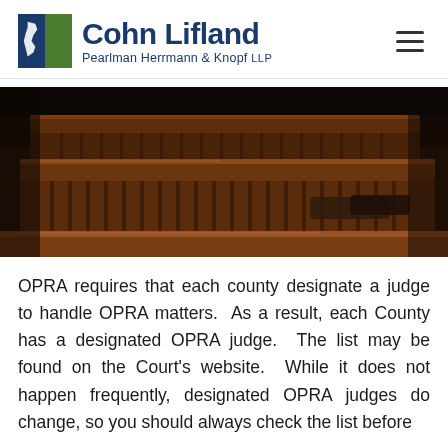Cohn Lifland Pearlman Herrmann & Knopf LLP
[Figure (photo): Photograph of wooden courtroom pews/benches viewed from a low angle, with dark wood grain and vertical slats visible in warm brown tones.]
OPRA requires that each county designate a judge to handle OPRA matters.  As a result, each County has a designated OPRA judge.  The list may be found on the Court's website.  While it does not happen frequently, designated OPRA judges do change, so you should always check the list before